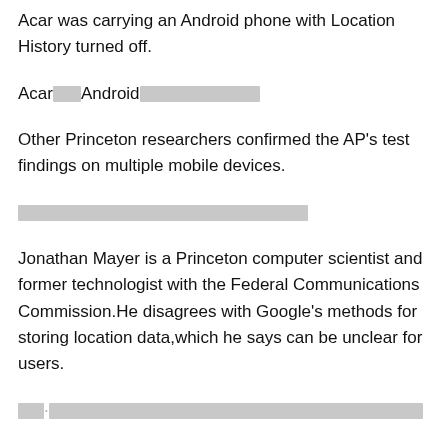Acar was carrying an Android phone with Location History turned off.
Acar [redacted] Android [redacted]
Other Princeton researchers confirmed the AP's test findings on multiple mobile devices.
[redacted]
Jonathan Mayer is a Princeton computer scientist and former technologist with the Federal Communications Commission. He disagrees with Google's methods for storing location data, which he says can be unclear for users.
[redacted]